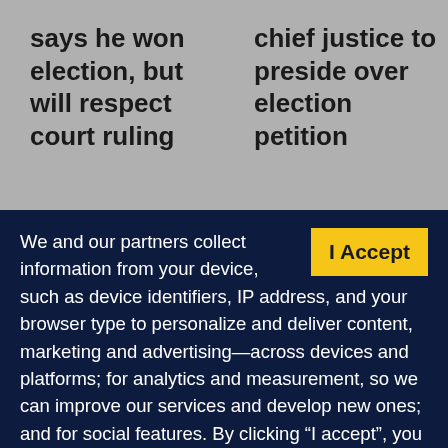says he won election, but will respect court ruling
chief justice to preside over election petition
We and our partners collect information from your device, such as device identifiers, IP address, and your browser type to personalize and deliver content, marketing and advertising—across devices and platforms; for analytics and measurement, so we can improve our services and develop new ones; and for social features. By clicking “I accept”, you consent to our use of these Cookies. Visit our Privacy Policy to learn more.
I Accept
YOUR USE OF THIS SITE SIGNIFIES YOUR AGREEMENT TO THIS PRIVACY POLICY.